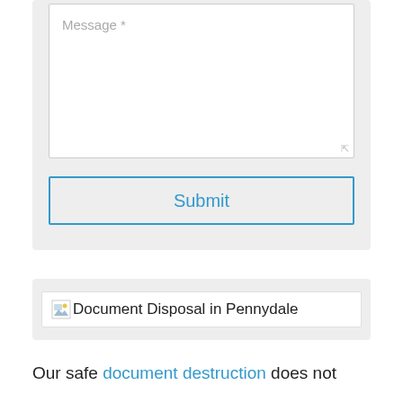[Figure (screenshot): A web form textarea labeled 'Message *' with a white background and a Submit button below it with blue border on a light gray card background.]
[Figure (illustration): Broken image placeholder with alt text 'Document Disposal in Pennydale' inside a light gray card.]
Our safe document destruction does not